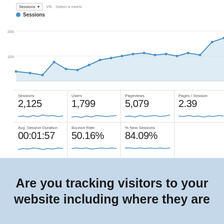[Figure (continuous-plot): Google Analytics sessions line chart showing upward trend over time. Y-axis shows 100 and 200 gridlines. Sessions legend with blue dot shown above chart. Dropdown selectors for Sessions metric vs. comparison. Chart shows growing trend line from ~60 to ~170 sessions.]
| Metric | Value |
| --- | --- |
| Sessions | 2,125 |
| Users | 1,799 |
| Pageviews | 5,079 |
| Pages / Session | 2.39 |
| Avg. Session Duration | 00:01:57 |
| Bounce Rate | 50.16% |
| % New Sessions | 84.09% |
| Demographics | Language |
| --- | --- |
| Language | 1. en-us |
| Country / Territory | 2. en-gb |
| City | 3. en-ca |
| System | 4. pt-br |
Are you tracking visitors to your website including where they are coming from and if they are a returning visitor?